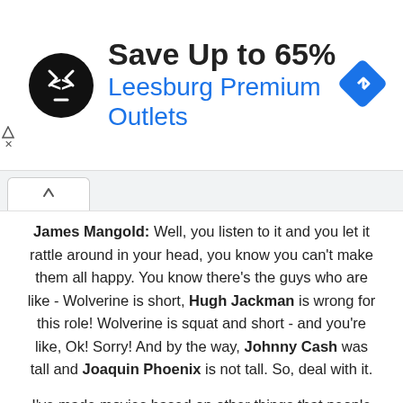[Figure (infographic): Advertisement banner: black circular logo with double arrow symbol, text 'Save Up to 65%' in bold dark, 'Leesburg Premium Outlets' in blue, blue diamond navigation arrow icon on the right]
James Mangold: Well, you listen to it and you let it rattle around in your head, you know you can't make them all happy. You know there's the guys who are like - Wolverine is short, Hugh Jackman is wrong for this role! Wolverine is squat and short - and you're like, Ok! Sorry! And by the way, Johnny Cash was tall and Joaquin Phoenix is not tall. So, deal with it.
I've made movies based on other things that people hold dear and there is no way... you try to make people happy with the awareness that if people are looking at a drawn picture and want to see that moving up on the screen they should just never look up from the drawing because the